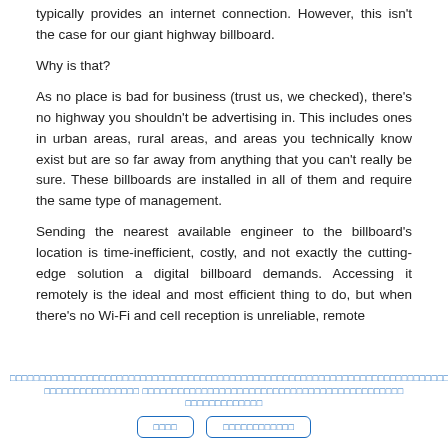typically provides an internet connection. However, this isn't the case for our giant highway billboard.
Why is that?
As no place is bad for business (trust us, we checked), there's no highway you shouldn't be advertising in. This includes ones in urban areas, rural areas, and areas you technically know exist but are so far away from anything that you can't really be sure. These billboards are installed in all of them and require the same type of management.
Sending the nearest available engineer to the billboard's location is time-inefficient, costly, and not exactly the cutting-edge solution a digital billboard demands. Accessing it remotely is the ideal and most efficient thing to do, but when there's no Wi-Fi and cell reception is unreliable, remote
[redacted footer text with buttons]